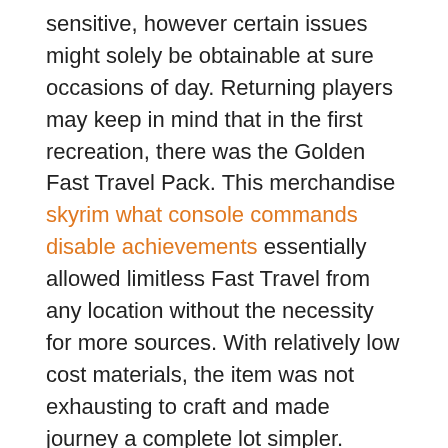sensitive, however certain issues might solely be obtainable at sure occasions of day. Returning players may keep in mind that in the first recreation, there was the Golden Fast Travel Pack. This merchandise skyrim what console commands disable achievements essentially allowed limitless Fast Travel from any location without the necessity for more sources. With relatively low cost materials, the item was not exhausting to craft and made journey a complete lot simpler.
In this case I'm thinking of issues like Super Mario Bros.' warp pipes. Though these are in some ways an ancestor of contemporary quick journey, I'd argue that shortcut mechanics, or access to hubs of discrete levels, aren't really quick journey as I will outline it